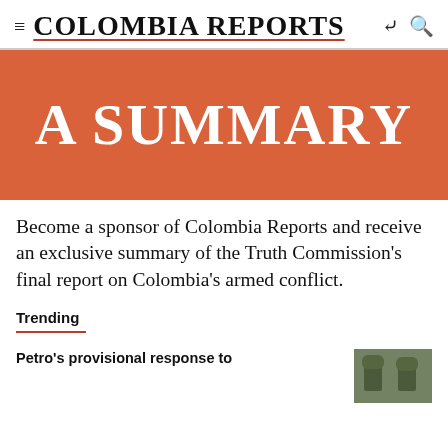COLOMBIA REPORTS
[Figure (illustration): Orange banner with large white serif text reading 'A SUMMARY']
Become a sponsor of Colombia Reports and receive an exclusive summary of the Truth Commission's final report on Colombia's armed conflict.
Trending
Petro's provisional response to
[Figure (photo): Two military officials in uniform photographed together]